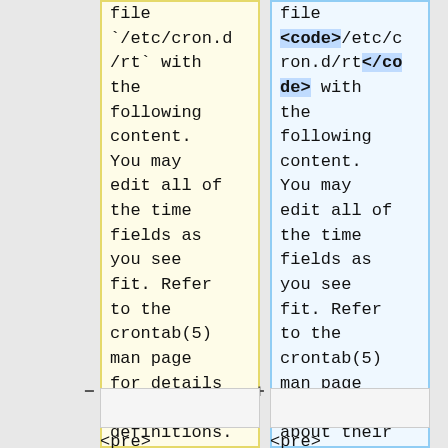file /etc/cron.d/rt` with the following content. You may edit all of the time fields as you see fit. Refer to the crontab(5) man page for details about their definitions.
file <code>/etc/cron.d/rt</code> with the following content. You may edit all of the time fields as you see fit. Refer to the crontab(5) man page for details about their definitions.